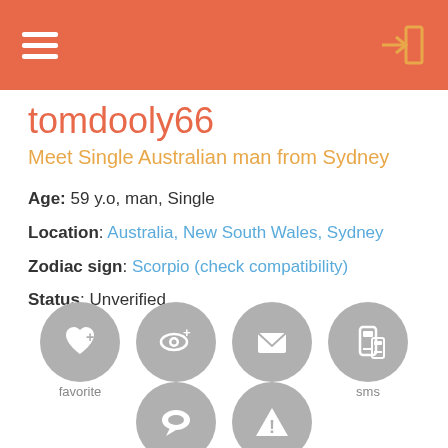tomdooly66 - Meet Single Australian man from Sydney
tomdooly66
Meet Single Australian man from Sydney
Age: 59 y.o, man, Single
Location: Australia, New South Wales, Sydney
Zodiac sign: Scorpio (check compatibility)
Status: Unverified
[Figure (infographic): Six circular grey action buttons: favorite (heart with plus), wink (eye with plus), mail (envelope), sms (mobile phone), chat (speech bubble), report (warning triangle with exclamation)]